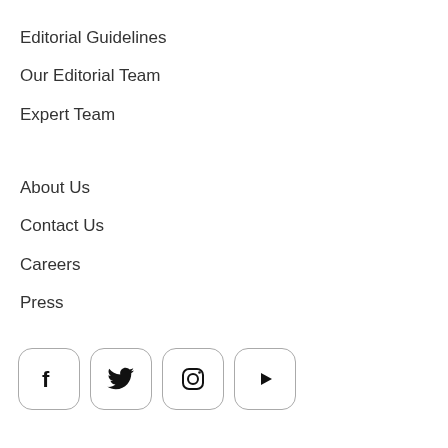Editorial Guidelines
Our Editorial Team
Expert Team
About Us
Contact Us
Careers
Press
[Figure (other): Social media icons: Facebook, Twitter, Instagram, YouTube — each in a rounded square border]